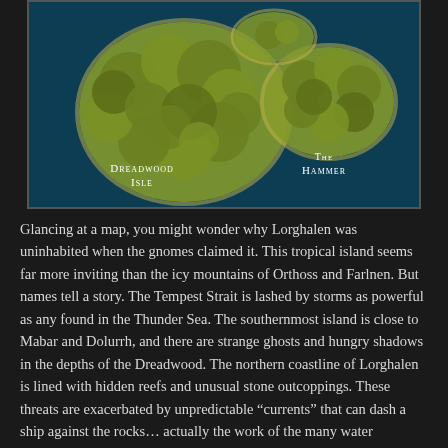[Figure (map): Fantasy map showing two islands: 'Dreadwood Isle' on the left (large, densely forested) and 'The Hammer' on the right (smaller), set against a dark teal sea background.]
Glancing at a map, you might wonder why Lorghalen was uninhabited when the gnomes claimed it. This tropical island seems far more inviting than the icy mountains of Orthoss and Farlnen. But names tell a story. The Tempest Strait is lashed by storms as powerful as any found in the Thunder Sea. The southernmost island is close to Mabar and Dolurrh, and there are strange ghosts and hungry shadows in the depths of the Dreadwood. The northern coastline of Lorghalen is lined with hidden reefs and unusual stone outcoppings. These threats are exacerbated by unpredictable “currents” that can dash a ship against the rocks… actually the work of the many water elementals that dwell along the coast. The safest landing is Hammer Bay, northeast of the small island. But